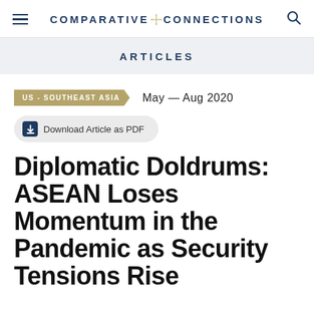COMPARATIVE CONNECTIONS
ARTICLES
US - SOUTHEAST ASIA   May — Aug 2020
Download Article as PDF
Diplomatic Doldrums: ASEAN Loses Momentum in the Pandemic as Security Tensions Rise